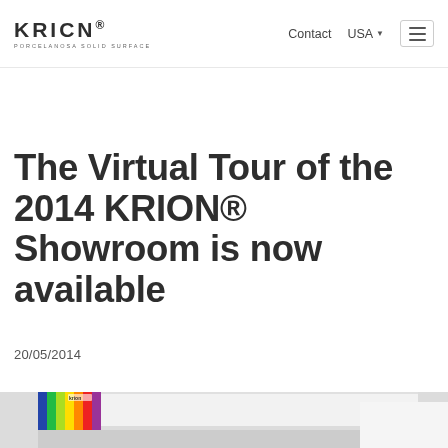KRION® PORCELANOSA SOLID SURFACE | Contact | USA | Menu
The Virtual Tour of the 2014 KRION® Showroom is now available
20/05/2014
[Figure (photo): Interior of KRION showroom with colorful panels on wall and white ceiling]